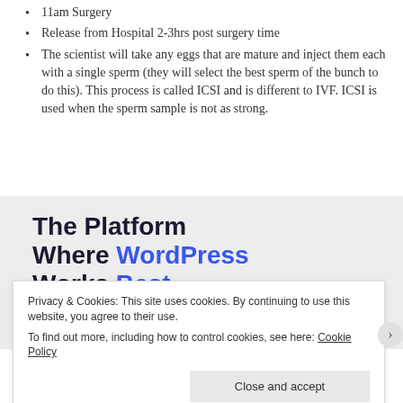11am Surgery
Release from Hospital 2-3hrs post surgery time
The scientist will take any eggs that are mature and inject them each with a single sperm (they will select the best sperm of the bunch to do this). This process is called ICSI and is different to IVF. ICSI is used when the sperm sample is not as strong.
[Figure (infographic): Advertisement banner: 'The Platform Where WordPress Works Best' with a blue 'SEE PRICING' button]
Privacy & Cookies: This site uses cookies. By continuing to use this website, you agree to their use. To find out more, including how to control cookies, see here: Cookie Policy
Close and accept